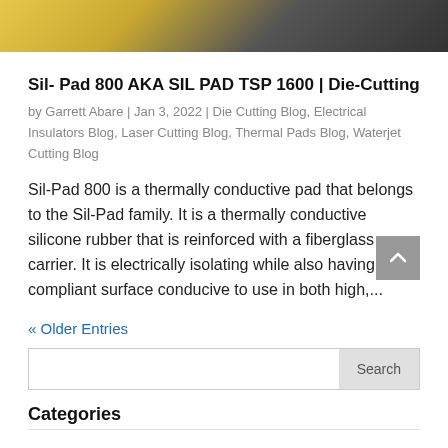[Figure (photo): Partial product photo showing a yellow/gold and dark grey background, top portion of a Sil-Pad thermal pad product image]
Sil- Pad 800 AKA SIL PAD TSP 1600 | Die-Cutting
by Garrett Abare | Jan 3, 2022 | Die Cutting Blog, Electrical Insulators Blog, Laser Cutting Blog, Thermal Pads Blog, Waterjet Cutting Blog
Sil-Pad 800 is a thermally conductive pad that belongs to the Sil-Pad family. It is a thermally conductive silicone rubber that is reinforced with a fiberglass carrier. It is electrically isolating while also having a compliant surface conducive to use in both high,...
« Older Entries
Search
Categories